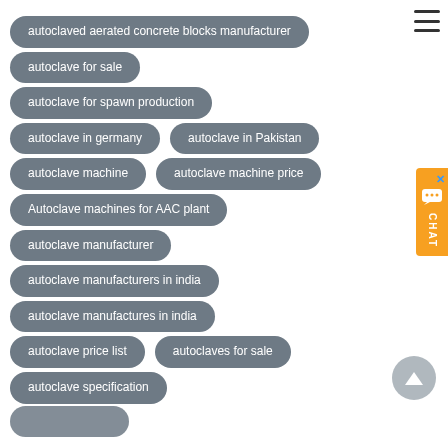autoclaved aerated concrete blocks manufacturer
autoclave for sale
autoclave for spawn production
autoclave in germany
autoclave in Pakistan
autoclave machine
autoclave machine price
Autoclave machines for AAC plant
autoclave manufacturer
autoclave manufacturers in india
autoclave manufactures in india
autoclave price list
autoclaves for sale
autoclave specification